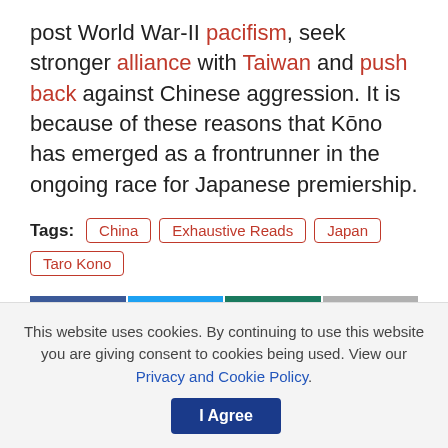post World War-II pacifism, seek stronger alliance with Taiwan and push back against Chinese aggression. It is because of these reasons that Kōno has emerged as a frontrunner in the ongoing race for Japanese premiership.
Tags: China  Exhaustive Reads  Japan  Taro Kono
[Figure (infographic): Social share buttons: Facebook (dark blue), Twitter (light blue), WhatsApp (dark green), Share/forward (gray)]
This website uses cookies. By continuing to use this website you are giving consent to cookies being used. View our Privacy and Cookie Policy.  I Agree